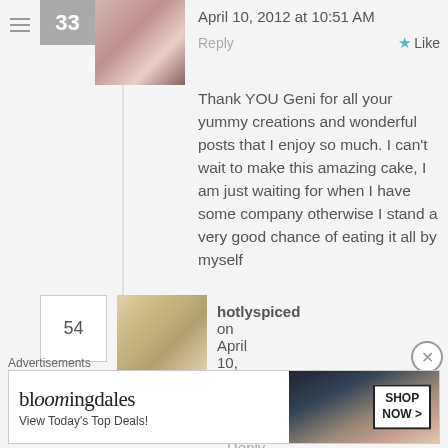April 10, 2012 at 10:51 AM
Reply  Like
Thank YOU Geni for all your yummy creations and wonderful posts that I enjoy so much. I can't wait to make this amazing cake, I am just waiting for when I have some company otherwise I stand a very good chance of eating it all by myself
hotlyspiced on April 10, 2012 at 3:00 PM  Reply  Like
That's an incredible range of recipes
Advertisements